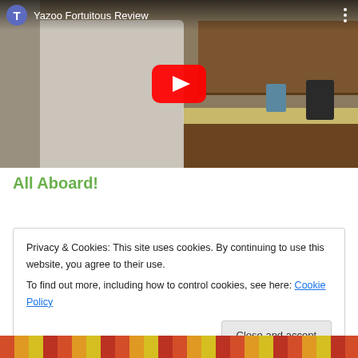[Figure (screenshot): YouTube video thumbnail showing a man in a white shirt holding two glasses in a kitchen, with the YouTube play button overlay and video title 'Yazoo Fortuitous Review' at the top with a purple T avatar icon and three-dot menu]
All Aboard!
Privacy & Cookies: This site uses cookies. By continuing to use this website, you agree to their use.
To find out more, including how to control cookies, see here: Cookie Policy
Close and accept
[Figure (screenshot): Bottom strip showing what appears to be a colorful image partially visible at the very bottom of the page]